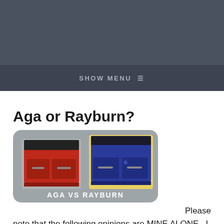SHOW MENU ≡
Aga or Rayburn?
[Figure (photo): Side-by-side image of a red Aga cooker and a blue Rayburn cooker with text 'AGA VS RAYBURN' below them on a grey rounded rectangle background]
Please note that the following opinions are MINE ALONE . I have no connection with Glynwed, Agafood the manufacturers of the famous Aga / Rayburn cookers , which can only be purchased NEW from their